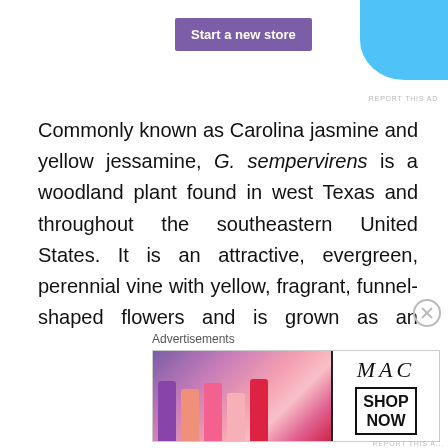[Figure (screenshot): Top advertisement banner with purple 'Start a new store' button and blue decorative shape]
Commonly known as Carolina jasmine and yellow jessamine, G. sempervirens is a woodland plant found in west Texas and throughout the southeastern United States. It is an attractive, evergreen, perennial vine with yellow, fragrant, funnel-shaped flowers and is grown as an ornamental in its native region and beyond. Most poisonings occur when the stems and leaves are consumed, usually as some kind of “herbal preparation;” however, the Handbook of Poisonous and Injurious Plants claims that “there are cases of children who were poisoned after sucking on the flowers.” Headaches
[Figure (screenshot): Bottom advertisement banner for MAC cosmetics showing lipsticks and SHOP NOW box]